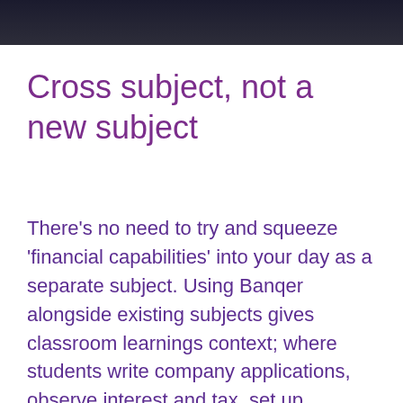[Figure (photo): Dark photograph of a person, partially visible at the top of the page]
Cross subject, not a new subject
There's no need to try and squeeze 'financial capabilities' into your day as a separate subject. Using Banqer alongside existing subjects gives classroom learnings context; where students write company applications, observe interest and tax, set up automatic payments, and much more.